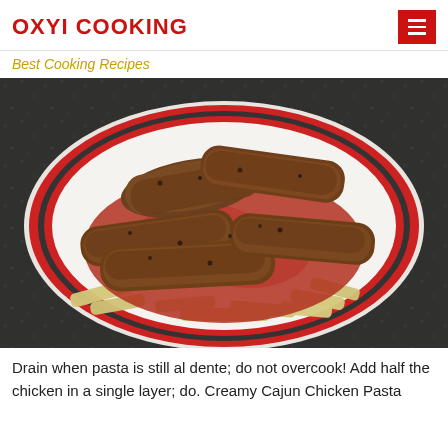OXYI COOKING
Best Cooking Recipes
[Figure (photo): A white bowl with red-striped rim containing penne pasta topped with tomato sauce and Cajun-spiced chicken strips, on a dark granite surface.]
Drain when pasta is still al dente; do not overcook! Add half the chicken in a single layer; do. Creamy Cajun Chicken Pasta